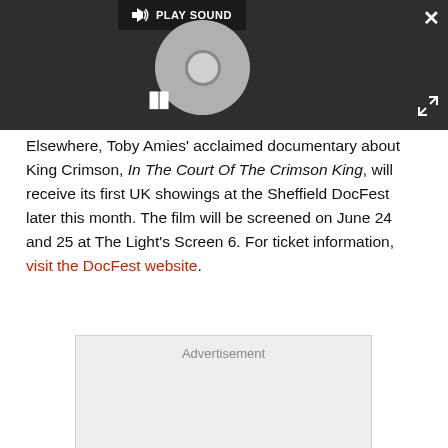[Figure (screenshot): Video player overlay showing a loading/spinning CD icon, play sound bar at top, pause button, close X button, and expand button on dark background]
Elsewhere, Toby Amies' acclaimed documentary about King Crimson, In The Court Of The Crimson King, will receive its first UK showings at the Sheffield DocFest later this month. The film will be screened on June 24 and 25 at The Light's Screen 6. For ticket information, visit the DocFest website.
[Figure (other): Advertisement placeholder box with light grey background]